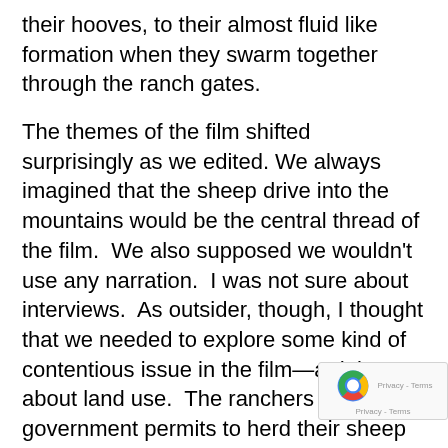their hooves, to their almost fluid like formation when they swarm together through the ranch gates.
The themes of the film shifted surprisingly as we edited. We always imagined that the sheep drive into the mountains would be the central thread of the film.  We also supposed we wouldn't use any narration.  I was not sure about interviews.  As outsider, though, I thought that we needed to explore some kind of contentious issue in the film—a debate about land use.  The ranchers had government permits to herd their sheep into public lands.  There were environmentalist groups in the area, and East Coast hobby ranchers who objected to that use.  Initially I imagined that some of these controversies might